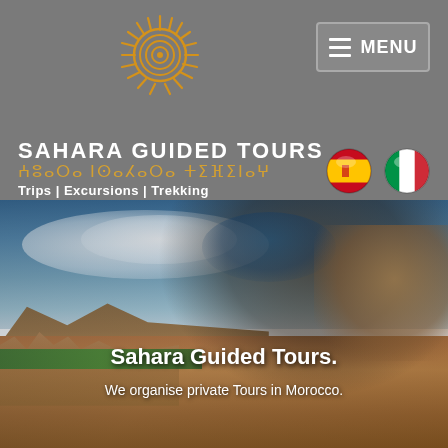[Figure (logo): Sahara Guided Tours logo: a sun with concentric circles and radiating rays in orange/gold on gray background]
[Figure (other): Menu button with three horizontal lines and MENU text on gray background]
SAHARA GUIDED TOURS
ⵄⵓⴰⵔⴰ ⵏⵙⴰⵃⴰⵔⴰ ⵜⵉⴼⵉⵏⴰⵖ
Trips | Excursions | Trekking
[Figure (other): Spanish flag circular icon]
[Figure (other): Italian flag circular icon]
[Figure (photo): Hero image: Berber/Tuareg man in blue turban smiling with a camel, desert landscape with red clay buildings and mountains in background, blue sky with clouds]
Sahara Guided Tours.
We organise private Tours in Morocco.